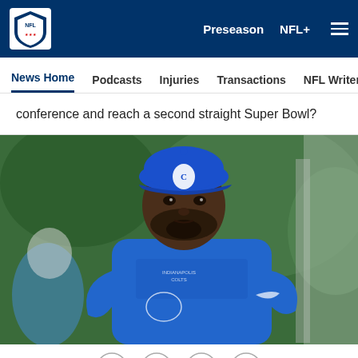NFL | Preseason | NFL+
News Home | Podcasts | Injuries | Transactions | NFL Writers | Se
conference and reach a second straight Super Bowl?
[Figure (photo): Indianapolis Colts player wearing blue Colts cap and blue Indianapolis Colts t-shirt at training camp, looking into the distance]
[Figure (infographic): Social share icons: Facebook, Twitter, Email, Link]